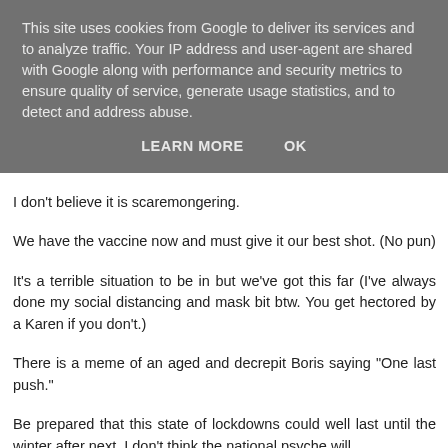This site uses cookies from Google to deliver its services and to analyze traffic. Your IP address and user-agent are shared with Google along with performance and security metrics to ensure quality of service, generate usage statistics, and to detect and address abuse.
LEARN MORE    OK
I don't believe it is scaremongering.
We have the vaccine now and must give it our best shot. (No pun)
It's a terrible situation to be in but we've got this far (I've always done my social distancing and mask bit btw. You get hectored by a Karen if you don't.)
There is a meme of an aged and decrepit Boris saying "One last push."
Be prepared that this state of lockdowns could well last until the winter after next. I don't think the national psyche will